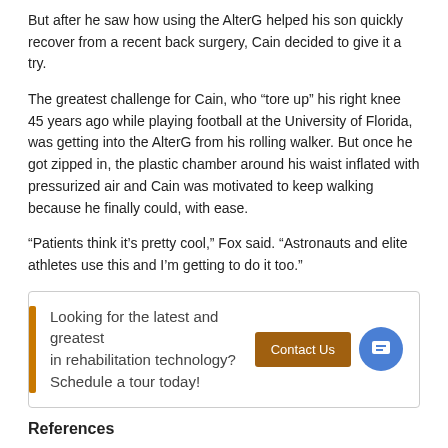But after he saw how using the AlterG helped his son quickly recover from a recent back surgery, Cain decided to give it a try.
The greatest challenge for Cain, who “tore up” his right knee 45 years ago while playing football at the University of Florida, was getting into the AlterG from his rolling walker. But once he got zipped in, the plastic chamber around his waist inflated with pressurized air and Cain was motivated to keep walking because he finally could, with ease.
“Patients think it’s pretty cool,” Fox said. “Astronauts and elite athletes use this and I’m getting to do it too.”
Looking for the latest and greatest in rehabilitation technology? Schedule a tour today!
References